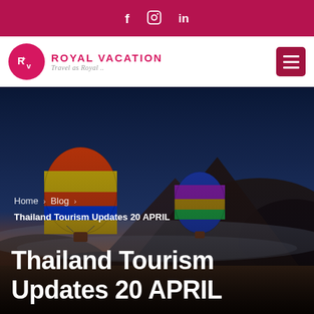f  IG  in
[Figure (logo): Royal Vacation logo with pink circle RV emblem, brand name ROYAL VACATION and tagline Travel as Royal ..]
[Figure (photo): Hot air balloons floating over misty mountains at sunset/dusk with dramatic sky. Navigation breadcrumb and page title overlaid.]
Home > Blog > Thailand Tourism Updates 20 APRIL
Thailand Tourism Updates 20 APRIL